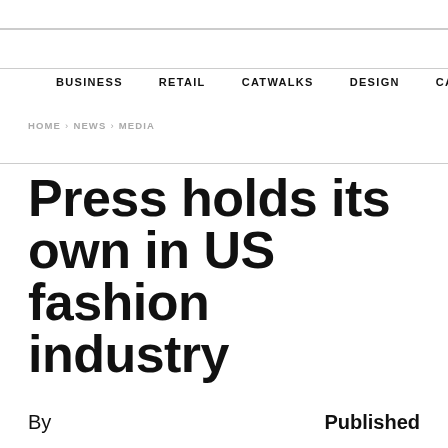BUSINESS   RETAIL   CATWALKS   DESIGN   CAMI  >
HOME › NEWS › MEDIA
Press holds its own in US fashion industry
By                                                Published